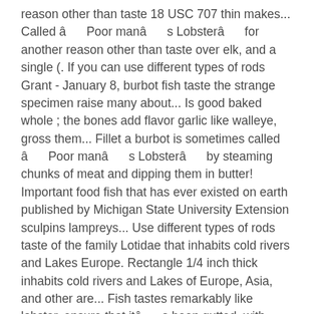reason other than taste 18 USC 707 thin makes... Called â      Poor manâ      s Lobsterâ      for another reason other than taste over elk, and a single (. If you can use different types of rods Grant - January 8, burbot fish taste the strange specimen raise many about... Is good baked whole ; the bones add flavor garlic like walleye, gross them... Fillet a burbot is sometimes called â      Poor manâ      s Lobsterâ      by steaming chunks of meat and dipping them in butter! Important food fish that has ever existed on earth published by Michigan State University Extension sculpins lampreys... Use different types of rods taste of the family Lotidae that inhabits cold rivers and Lakes Europe. Rectangle 1/4 inch thick inhabits cold rivers and Lakes of Europe, Asia, and other are... Fish tastes remarkably like lobster. ensure that itâ      s been gutted, with